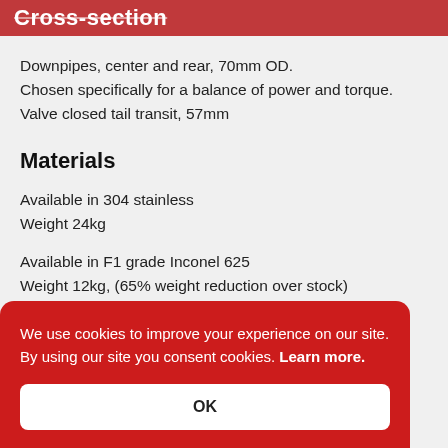Cross-section
Downpipes, center and rear, 70mm OD.
Chosen specifically for a balance of power and torque.
Valve closed tail transit, 57mm
Materials
Available in 304 stainless
Weight 24kg
Available in F1 grade Inconel 625
Weight 12kg, (65% weight reduction over stock)
We use cookies to improve your experience on our site. By using our site you consent cookies. Learn more.
OK